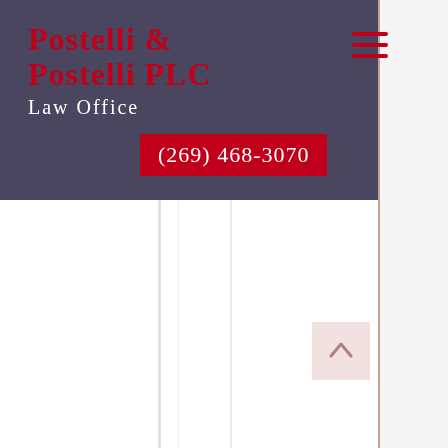[Figure (logo): Postelli & Postelli PLC Law Office logo on dark purple/slate header bar with hamburger menu icon in red]
Postelli & Postelli PLC
Law Office
(269) 468-3070